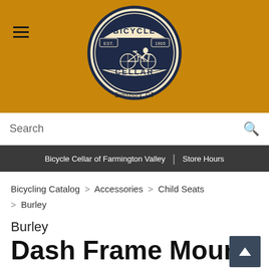[Figure (logo): Bicycle Cellar circular logo with cyclist, Est. 1965, Simsbury CT, on golden background with hamburger menu icon]
Search
Bicycle Cellar of Farmington Valley | Store Hours
Bicycling Catalog > Accessories > Child Seats > Burley
Burley
Dash Frame Mount